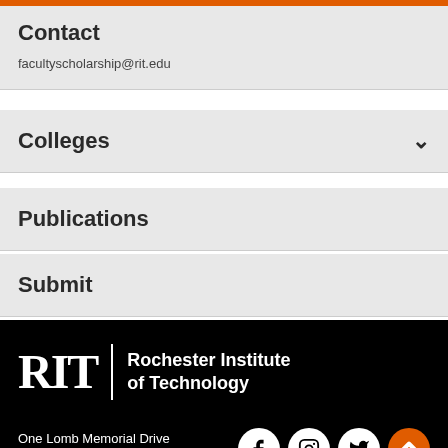Contact
facultyscholarship@rit.edu
Colleges
Publications
Submit
[Figure (logo): RIT Rochester Institute of Technology logo in white on black background]
One Lomb Memorial Drive
Rochester, NY 14623
585-475-2411